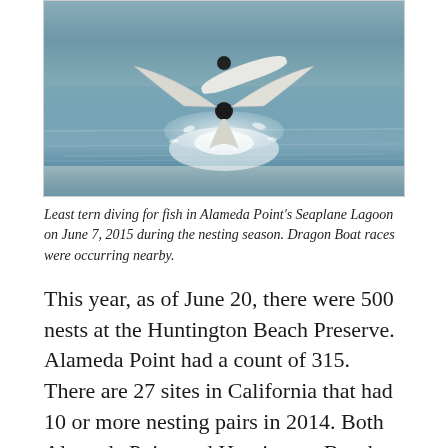[Figure (photo): A least tern diving for fish in water, with wings spread and splashing water around it.]
Least tern diving for fish in Alameda Point's Seaplane Lagoon on June 7, 2015 during the nesting season. Dragon Boat races were occurring nearby.
This year, as of June 20, there were 500 nests at the Huntington Beach Preserve. Alameda Point had a count of 315. There are 27 sites in California that had 10 or more nesting pairs in 2014. Both Alameda Point and Huntington Beach typically rank in the top five. Huntington Beach least tern nesting news updates are posted on the Sea and Sage Audubon Society